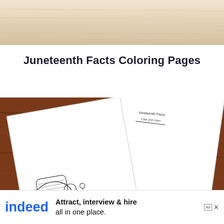[Figure (photo): Light wood grain texture surface, top portion of the page background]
Juneteenth Facts Coloring Pages
[Figure (photo): Coloring pages laid on dark wooden table surface showing Juneteenth themed coloring book pages with cartoon characters and decorative text]
[Figure (other): Indeed advertisement banner: 'Attract, interview & hire all in one place.' with Indeed logo, ad label and close button]